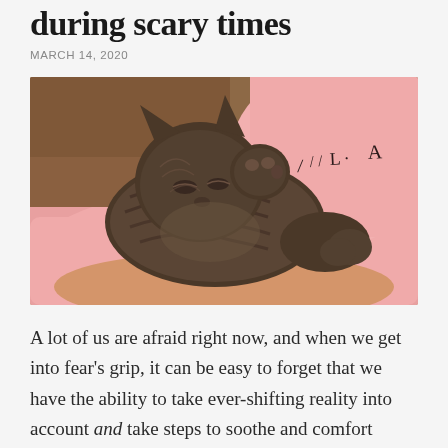during scary times
MARCH 14, 2020
[Figure (photo): A tabby kitten sleeping/resting on a person's arm, the person wearing a pink hoodie with text on it]
A lot of us are afraid right now, and when we get into fear's grip, it can be easy to forget that we have the ability to take ever-shifting reality into account and take steps to soothe and comfort ourselves. Yes, it